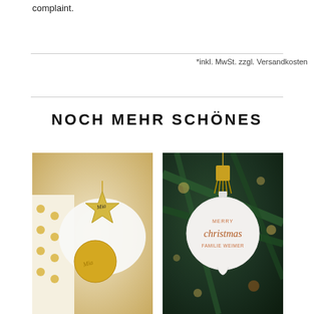complaint.
*inkl. MwSt. zzgl. Versandkosten
NOCH MEHR SCHÖNES
[Figure (photo): Christmas ornaments with gold star and disc decorations with personalized names on a white plate with polka dot wrapping paper]
[Figure (photo): White Christmas bauble ornament with gold tassel and 'Merry Christmas Familie Weimer' text hanging on a Christmas tree with lights]